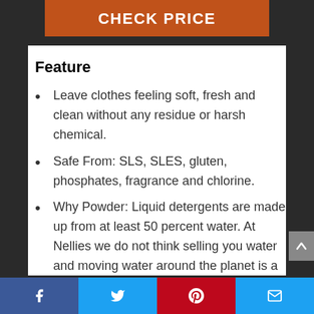[Figure (other): Orange CHECK PRICE button]
Feature
Leave clothes feeling soft, fresh and clean without any residue or harsh chemical.
Safe From: SLS, SLES, gluten, phosphates, fragrance and chlorine.
Why Powder: Liquid detergents are made up from at least 50 percent water. At Nellies we do not think selling you water and moving water around the planet is a very good
Facebook | Twitter | Pinterest | Email